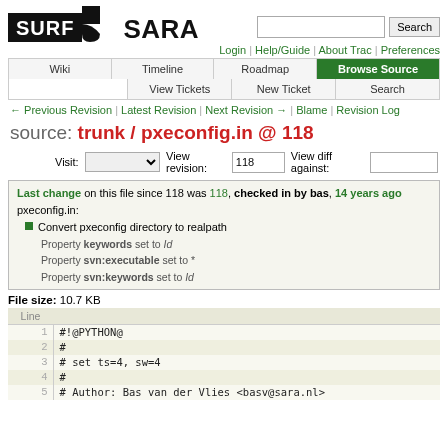[Figure (logo): SurfSara logo with black SURF box and tail shape, SARA text]
Login | Help/Guide | About Trac | Preferences
Wiki | Timeline | Roadmap | Browse Source | View Tickets | New Ticket | Search
← Previous Revision | Latest Revision | Next Revision → | Blame | Revision Log
source: trunk / pxeconfig.in @ 118
Visit: [dropdown] View revision: 118 View diff against: [input]
Last change on this file since 118 was 118, checked in by bas, 14 years ago
pxeconfig.in:
■ Convert pxeconfig directory to realpath
Property keywords set to Id
Property svn:executable set to *
Property svn:keywords set to Id
File size: 10.7 KB
| Line |  |
| --- | --- |
| 1 | #!@PYTHON@ |
| 2 | # |
| 3 | # set ts=4, sw=4 |
| 4 | # |
| 5 | # Author: Bas van der Vlies <basv@sara.nl> |